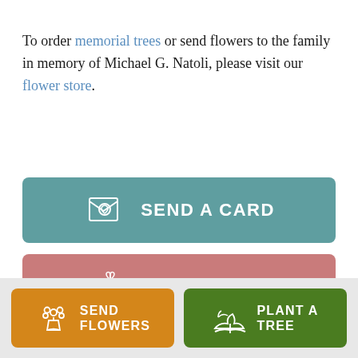To order memorial trees or send flowers to the family in memory of Michael G. Natoli, please visit our flower store.
[Figure (infographic): Teal button with card icon labeled SEND A CARD]
[Figure (infographic): Rose/pink button with gift box icon labeled SEND A GIFT]
[Figure (infographic): Orange button with flower bouquet icon labeled SEND FLOWERS]
[Figure (infographic): Green button with plant/tree icon labeled PLANT A TREE]